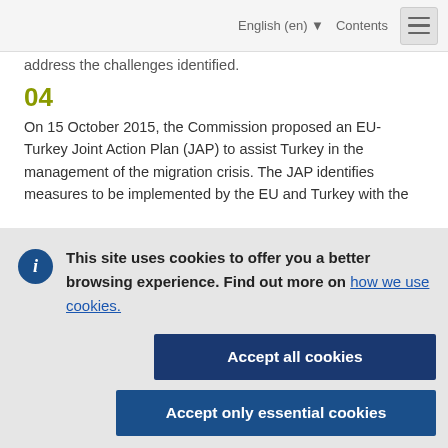English (en) ▾   Contents   ☰
address the challenges identified.
04
On 15 October 2015, the Commission proposed an EU-Turkey Joint Action Plan (JAP) to assist Turkey in the management of the migration crisis. The JAP identifies measures to be implemented by the EU and Turkey with the
This site uses cookies to offer you a better browsing experience. Find out more on how we use cookies.
Accept all cookies
Accept only essential cookies